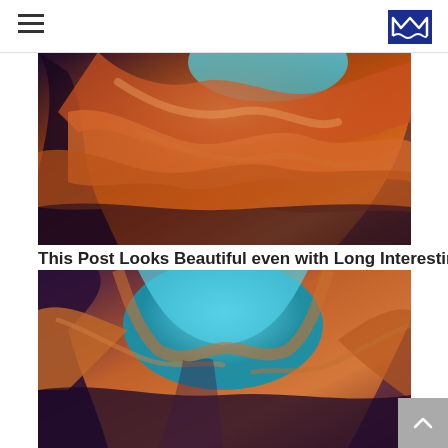[Figure (photo): Antelope Canyon slot canyon photo showing swirling orange and purple sandstone rock formations with light beams]
This Post Looks Beautiful even with Long Interesting Title
[Figure (photo): Antelope Canyon slot canyon photo looking up through narrow opening showing blue sky, with orange and purple sandstone formations curving around]